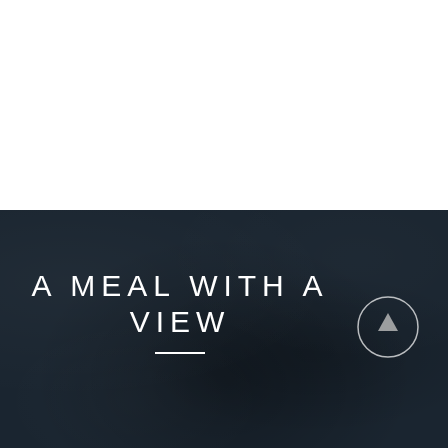[Figure (photo): Top half white area, bottom half dark textured surface resembling dark stone or slate material]
A MEAL WITH A VIEW
[Figure (other): Circular button with upward arrow icon, outlined in white on dark background]